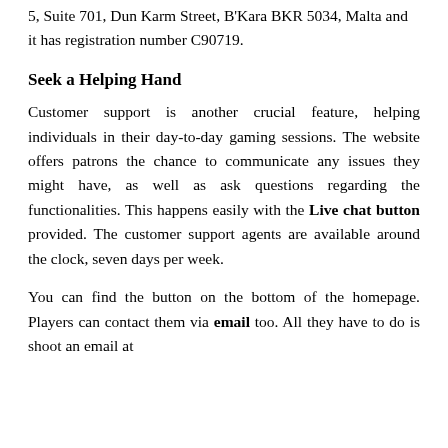5, Suite 701, Dun Karm Street, B'Kara BKR 5034, Malta and it has registration number C90719.
Seek a Helping Hand
Customer support is another crucial feature, helping individuals in their day-to-day gaming sessions. The website offers patrons the chance to communicate any issues they might have, as well as ask questions regarding the functionalities. This happens easily with the Live chat button provided. The customer support agents are available around the clock, seven days per week.
You can find the button on the bottom of the homepage. Players can contact them via email too. All they have to do is shoot an email at